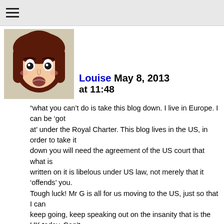≡
[Figure (illustration): Cartoon avatar of a woman with dark brown hair and a surprised/worried expression]
Louise May 8, 2013 at 11:48
“what you can’t do is take this blog down. I live in Europe. I can be ‘got at’ under the Royal Charter. This blog lives in the US, in order to take it down you will need the agreement of the US court that what is written on it is libelous under US law, not merely that it ‘offends’ you. Tough luck! Mr G is all for us moving to the US, just so that I can keep going, keep speaking out on the insanity that is the UK today. Can’t say I fancy it, but I am just angry enough to do so if I have